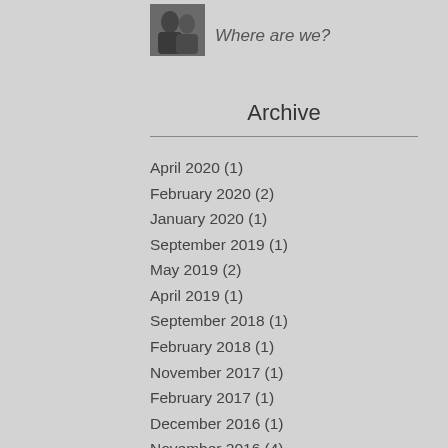[Figure (photo): Small black and white thumbnail photo of two people]
Where are we?
Archive
April 2020 (1)
February 2020 (2)
January 2020 (1)
September 2019 (1)
May 2019 (2)
April 2019 (1)
September 2018 (1)
February 2018 (1)
November 2017 (1)
February 2017 (1)
December 2016 (1)
November 2016 (4)
October 2016 (2)
September 2016 (2)
August 2016 (3)